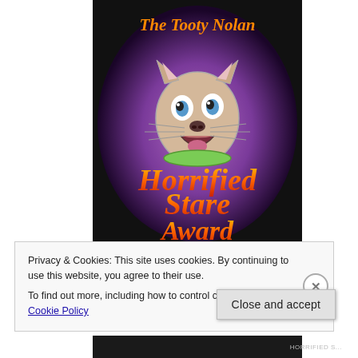[Figure (illustration): The Tooty Nolan Horrified Stare Award badge: a dark purple circular background with a cartoon cat/dog face with wide eyes and open mouth wearing a green collar. Text at top in orange reads 'The Tooty Nolan' and large orange gradient text below reads 'Horrified Stare Award'.]
Privacy & Cookies: This site uses cookies. By continuing to use this website, you agree to their use.
To find out more, including how to control cookies, see here: Cookie Policy
Close and accept